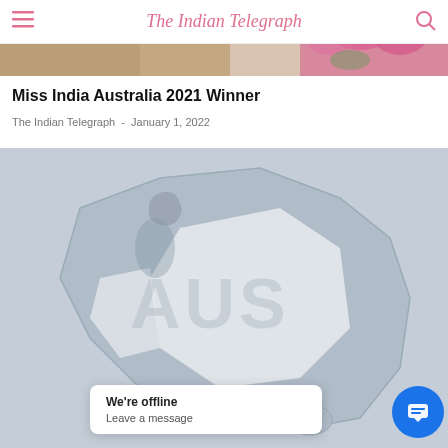The Indian Telegraph
[Figure (photo): Cropped top portion of a photo showing hair and flowers (pink peonies), partially visible]
Miss India Australia 2021 Winner
The Indian Telegraph  -  January 1, 2022
[Figure (illustration): Stylized map/illustration of Australia with kangaroo outline shapes in muted blue-grey tones]
[Figure (screenshot): Chat popup overlay saying 'We're offline / Leave a message' with a blue chat button icon]